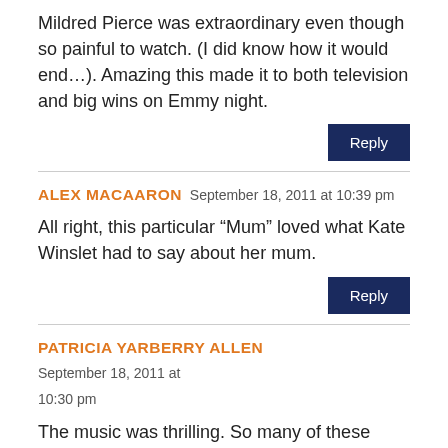Mildred Pierce was extraordinary even though so painful to watch. (I did know how it would end…). Amazing this made it to both television and big wins on Emmy night.
Reply
ALEX MACAARON   September 18, 2011 at 10:39 pm
All right, this particular “Mum” loved what Kate Winslet had to say about her mum.
Reply
PATRICIA YARBERRY ALLEN   September 18, 2011 at 10:30 pm
The music was thrilling. So many of these